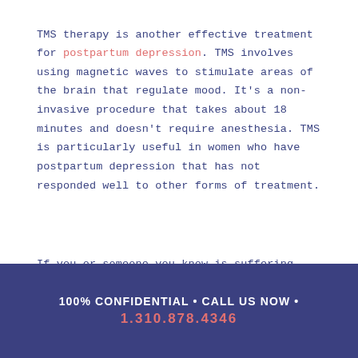TMS therapy is another effective treatment for postpartum depression. TMS involves using magnetic waves to stimulate areas of the brain that regulate mood. It's a non-invasive procedure that takes about 18 minutes and doesn't require anesthesia. TMS is particularly useful in women who have postpartum depression that has not responded well to other forms of treatment.
If you or someone you know is suffering from postpartum depression, our TMS treatment services at Pulse can help.
100% CONFIDENTIAL • CALL US NOW • 1.310.878.4346